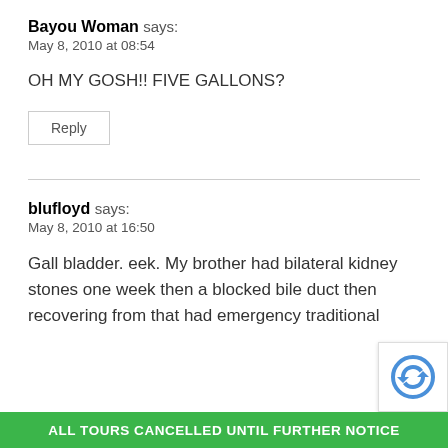Bayou Woman says:
May 8, 2010 at 08:54
OH MY GOSH!! FIVE GALLONS?
Reply
blufloyd says:
May 8, 2010 at 16:50
Gall bladder. eek. My brother had bilateral kidney stones one week then a blocked bile duct then recovering from that had emergency traditional
ALL TOURS CANCELLED UNTIL FURTHER NOTICE